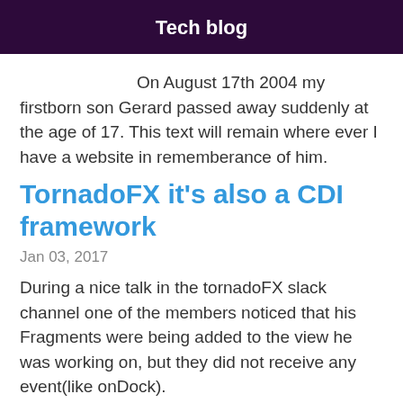Tech blog
On August 17th 2004 my firstborn son Gerard passed away suddenly at the age of 17. This text will remain where ever I have a website in rememberance of him.
TornadoFX it's also a CDI framework
Jan 03, 2017
During a nice talk in the tornadoFX slack channel one of the members noticed that his Fragments were being added to the view he was working on, but they did not receive any event(like onDock).